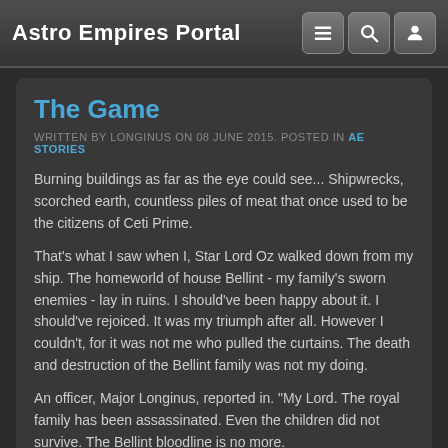Astro Empires Portal
The Game
WRITTEN BY LONGINUS ON 08 JUNE 2015. POSTED IN AE STORIES
Burning buildings as far as the eye could see... Shipwrecks, scorched earth, countless piles of meat that once used to be the citizens of Ceti Prime.
That's what I saw when I, Star Lord Oz walked down from my ship. The homeworld of house Bellint - my family's sworn enemies - lay in ruins. I should've been happy about it. I should've rejoiced. It was my triumph after all. However I couldn't, for it was not me who pulled the curtains. The death and destruction of the Bellint family was not my doing.
An officer, Major Longinus, reported in. "My Lord. The royal family has been assassinated. Even the children did not survive. The Bellint bloodline is no more.
I dismissed him with an impatient wave of my hand. "Who gave the order to attack, Major?"